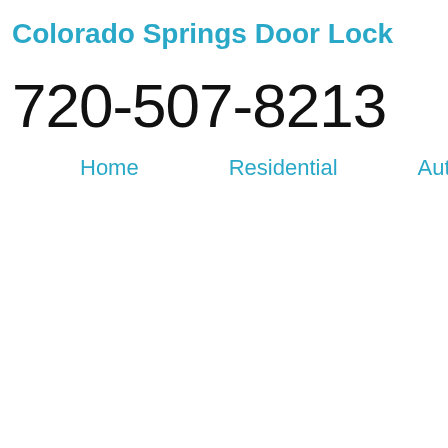Colorado Springs Door Lock
720-507-8213
Home
Residential
Automotive